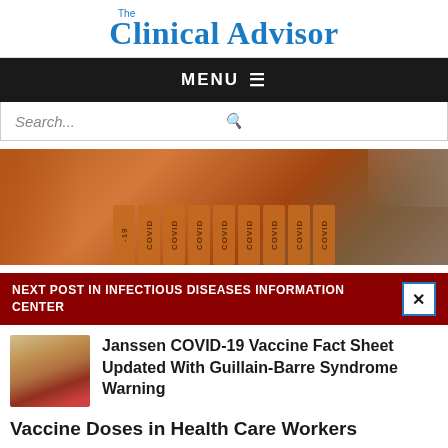Clinical Advisor
MENU ≡
Search...
[Figure (photo): Photo of COVID-labeled wooden blocks/tiles arranged in a row, held by a hand, with a blurred background of buildings and trees.]
NEXT POST IN INFECTIOUS DISEASES INFORMATION CENTER
[Figure (photo): Thumbnail image of a vaccine/medical injection related photo with green and red tones.]
Janssen COVID-19 Vaccine Fact Sheet Updated With Guillain-Barre Syndrome Warning
Vaccine Doses in Health Care Workers